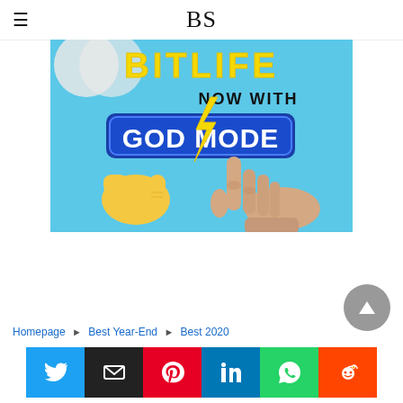BS
[Figure (illustration): BitLife mobile game advertisement showing 'BITLIFE NOW WITH GOD MODE' text on a blue background with a yellow lightning bolt emoji and two hands touching (one a yellow pointing emoji hand, one a realistic illustrated human hand reaching from the right), reminiscent of Michelangelo's Creation of Adam.]
Homepage ▶ Best Year-End ▶ Best 2020
[Figure (other): Social share buttons row: Twitter (blue), Email (black), Pinterest (red), LinkedIn (blue), WhatsApp (green), Reddit (orange-red)]